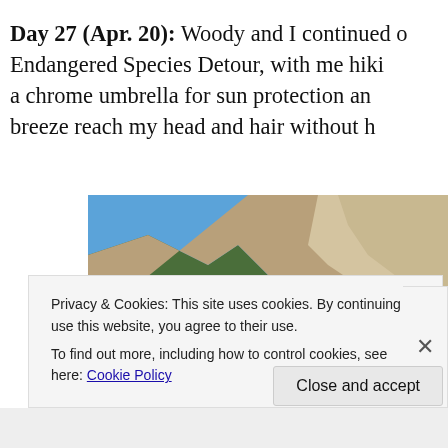Day 27 (Apr. 20): Woody and I continued on the Endangered Species Detour, with me hiking with a chrome umbrella for sun protection and let the breeze reach my head and hair without h
[Figure (photo): Outdoor mountain landscape photo showing rocky hillsides with scattered shrubs under a blue sky. In the foreground at the bottom is the top of a dark chrome/silver umbrella.]
Privacy & Cookies: This site uses cookies. By continuing to use this website, you agree to their use.
To find out more, including how to control cookies, see here: Cookie Policy
Close and accept